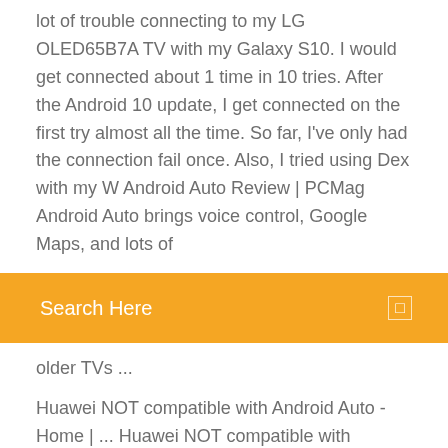lot of trouble connecting to my LG OLED65B7A TV with my Galaxy S10. I would get connected about 1 time in 10 tries. After the Android 10 update, I get connected on the first try almost all the time. So far, I've only had the connection fail once. Also, I tried using Dex with my W Android Auto Review | PCMag Android Auto brings voice control, Google Maps, and lots of
Search Here
older TVs ...
Huawei NOT compatible with Android Auto - Home | ... Huawei NOT compatible with Android Auto. 2,368 likes · 5 talking about this. Huawei and Honor phones are not compatible with Android Auto. Follow and like to keep updated on this issue. TEST: faites de votre smartphone Android le cerveau de ...
How to cast and mirror an Android screen to a TV. Whether it's streaming a movie, participating in a video call, showing off